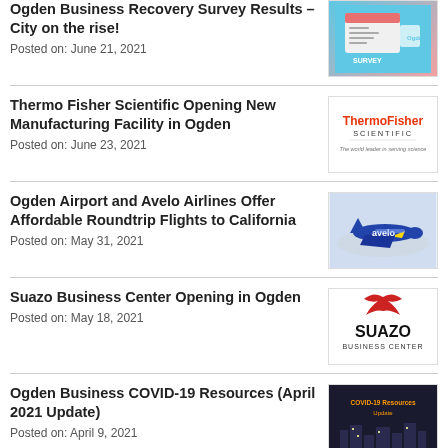Ogden Business Recovery Survey Results – City on the rise!
Posted on: June 21, 2021
Thermo Fisher Scientific Opening New Manufacturing Facility in Ogden
Posted on: June 23, 2021
Ogden Airport and Avelo Airlines Offer Affordable Roundtrip Flights to California
Posted on: May 31, 2021
Suazo Business Center Opening in Ogden
Posted on: May 18, 2021
Ogden Business COVID-19 Resources (April 2021 Update)
Posted on: April 9, 2021
Ogden CARES in the community: Grounds for Coffee